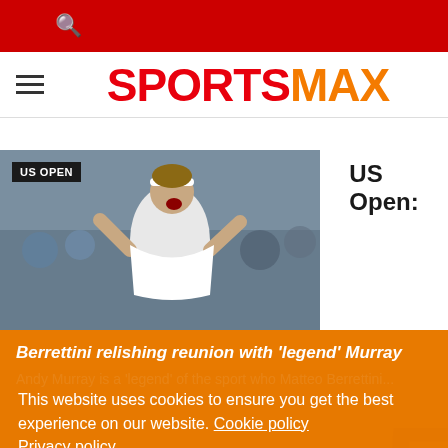SportsMax website header with search icon
[Figure (logo): SportsMax logo with hamburger menu]
[Figure (photo): Tennis player Matteo Berrettini shouting in celebration at US Open, with US OPEN badge overlay]
US Open:
Berrettini relishing reunion with 'legend' Murray
This website uses cookies to ensure you get the best experience on our website. Cookie policy Privacy policy
Andy Murray is a 'legend' of the sport who Matteo Berrettini...